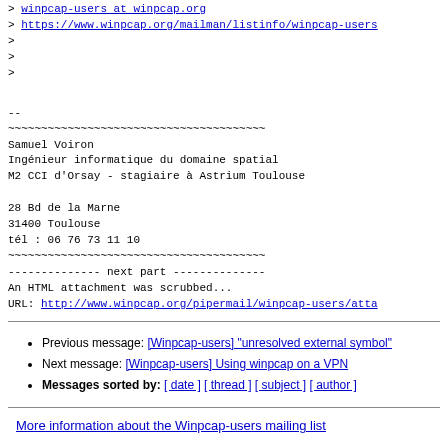> winpcap-users at winpcap.org
> https://www.winpcap.org/mailman/listinfo/winpcap-users
>
>
>
--
~~~~~~~~~~~~~~~~~~~~~~~~~~~~~~~~~~~~~~~
Samuel Voiron
Ingénieur informatique du domaine spatial
M2 CCI d'Orsay - stagiaire à Astrium Toulouse

28 Bd de la Marne
31400 Toulouse
tél : 06 76 73 11 10
~~~~~~~~~~~~~~~~~~~~~~~~~~~~~~~~~~~~~~~
-------------- next part --------------
An HTML attachment was scrubbed...
URL: http://www.winpcap.org/pipermail/winpcap-users/atta
Previous message: [Winpcap-users] "unresolved external symbol"
Next message: [Winpcap-users] Using winpcap on a VPN
Messages sorted by: [ date ] [ thread ] [ subject ] [ author ]
More information about the Winpcap-users mailing list